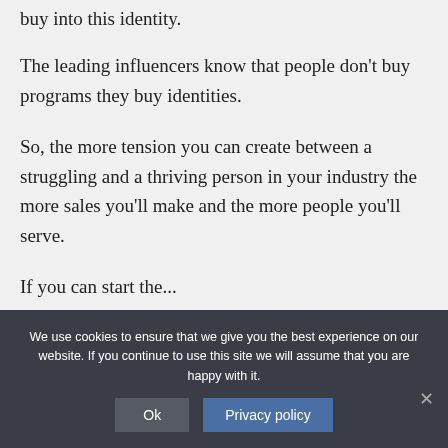buy into this identity.
The leading influencers know that people don't buy programs they buy identities.
So, the more tension you can create between a struggling and a thriving person in your industry the more sales you'll make and the more people you'll serve.
If you can start the...
We use cookies to ensure that we give you the best experience on our website. If you continue to use this site we will assume that you are happy with it.